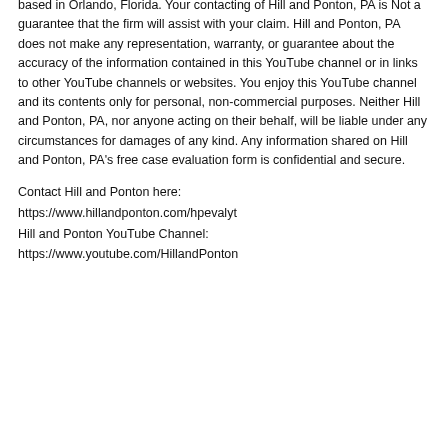based in Orlando, Florida. Your contacting of Hill and Ponton, PA is Not a guarantee that the firm will assist with your claim. Hill and Ponton, PA does not make any representation, warranty, or guarantee about the accuracy of the information contained in this YouTube channel or in links to other YouTube channels or websites. You enjoy this YouTube channel and its contents only for personal, non-commercial purposes. Neither Hill and Ponton, PA, nor anyone acting on their behalf, will be liable under any circumstances for damages of any kind. Any information shared on Hill and Ponton, PA's free case evaluation form is confidential and secure.
Contact Hill and Ponton here:
https://www.hillandponton.com/hpevalyt
Hill and Ponton YouTube Channel:
https://www.youtube.com/HillandPonton